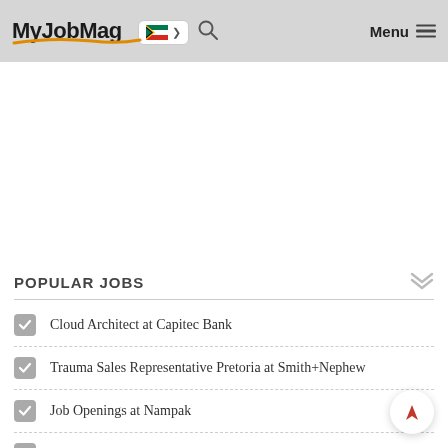MyJobMag
POPULAR JOBS
Cloud Architect at Capitec Bank
Trauma Sales Representative Pretoria at Smith+Nephew
Job Openings at Nampak
Job Opportunities at Old Mutual
Job Opportunities at Vaimo